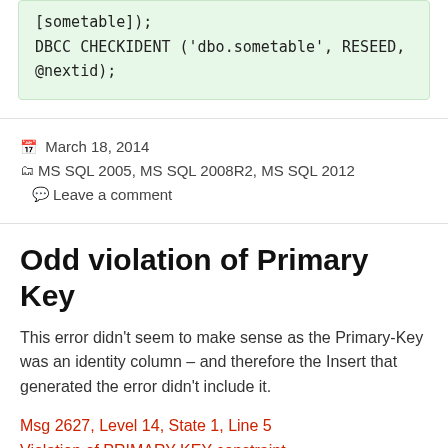[sometable]);
DBCC CHECKIDENT ('dbo.sometable', RESEED,
@nextid);
March 18, 2014   MS SQL 2005, MS SQL 2008R2, MS SQL 2012   Leave a comment
Odd violation of Primary Key
This error didn’t seem to make sense as the Primary-Key was an identity column – and therefore the Insert that generated the error didn’t include it.
Msg 2627, Level 14, State 1, Line 5
Violation of PRIMARY KEY constraint ‘PK_somecolumn’. Cannot insert duplicate key in